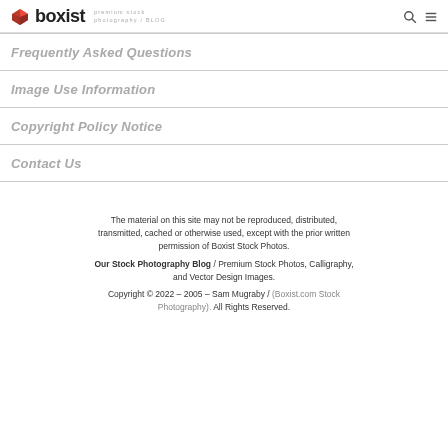boxist premium stock photography / BLOG
Frequently Asked Questions
Image Use Information
Copyright Policy Notice
Contact Us
The material on this site may not be reproduced, distributed, transmitted, cached or otherwise used, except with the prior written permission of Boxist Stock Photos.
Our Stock Photography Blog / Premium Stock Photos, Calligraphy, and Vector Design Images.
Copyright © 2022 - 2005 - Sam Mugraby / (Boxist.com Stock Photography). All Rights Reserved.